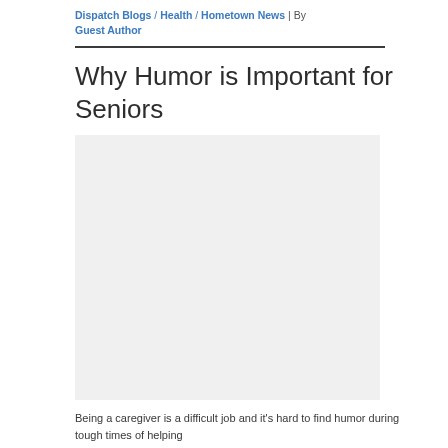Dispatch Blogs / Health / Hometown News | By Guest Author
Why Humor is Important for Seniors
[Figure (photo): Photo placeholder — article image for 'Why Humor is Important for Seniors']
Being a caregiver is a difficult job and it's hard to find humor during tough times of helping